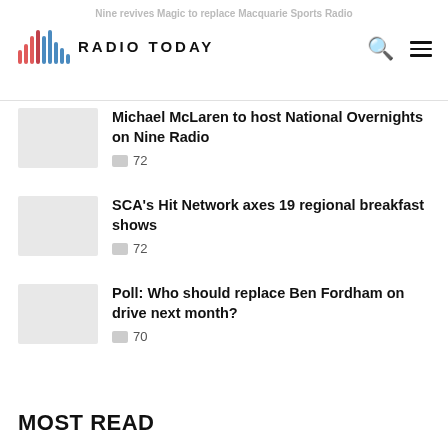Nine revives Magic to replace Macquarie Sports Radio
[Figure (logo): Radio Today logo with waveform bars and wordmark]
Michael McLaren to host National Overnights on Nine Radio
72 comments
SCA's Hit Network axes 19 regional breakfast shows
72 comments
Poll: Who should replace Ben Fordham on drive next month?
70 comments
MOST READ